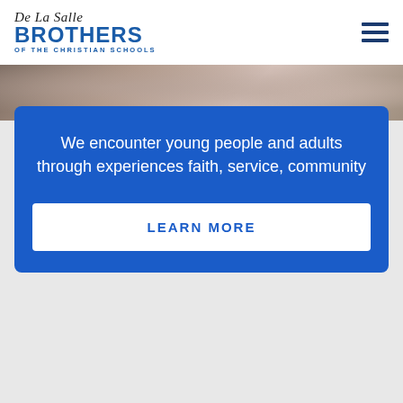De La Salle Brothers of the Christian Schools
[Figure (photo): Partial photo showing people, cropped at top]
We encounter young people and adults through experiences faith, service, community
LEARN MORE